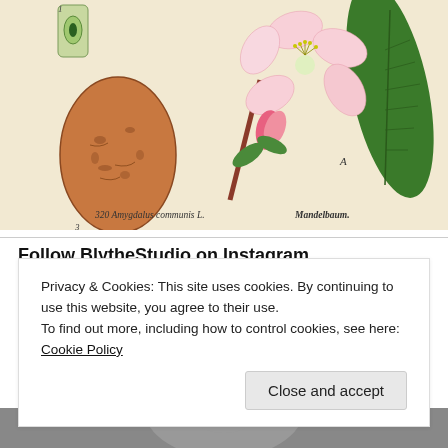[Figure (illustration): Botanical illustration of Amygdalus communis L. (Almond tree / Mandelbaum), showing cross-section of flower bud, almond nut, full flower with pink petals, green leaf, and a budding branch. Caption reads '320 Amygdalus communis L.' and 'Mandelbaum.' on cream background.]
Follow BlytheStudio on Instagram
Privacy & Cookies: This site uses cookies. By continuing to use this website, you agree to their use.
To find out more, including how to control cookies, see here: Cookie Policy
[Figure (photo): Partial bottom strip showing a grayscale photograph, partially cropped.]